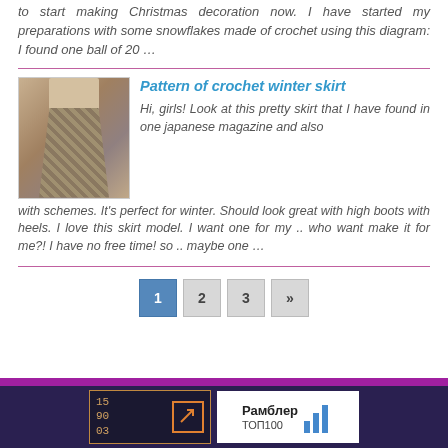to start making Christmas decoration now. I have started my preparations with some snowflakes made of crochet using this diagram: I found one ball of 20 …
[Figure (photo): A woman wearing a crocheted winter skirt, shown from waist down, in a doorway]
Pattern of crochet winter skirt
Hi, girls! Look at this pretty skirt that I have found in one japanese magazine and also with schemes. It's perfect for winter. Should look great with high boots with heels. I love this skirt model. I want one for my .. who want make it for me?! I have no free time! so .. maybe one …
1
2
3
»
[Figure (logo): 15 90 03 badge with arrow icon]
[Figure (logo): Рамблер ТОП100 badge with bar chart icon]